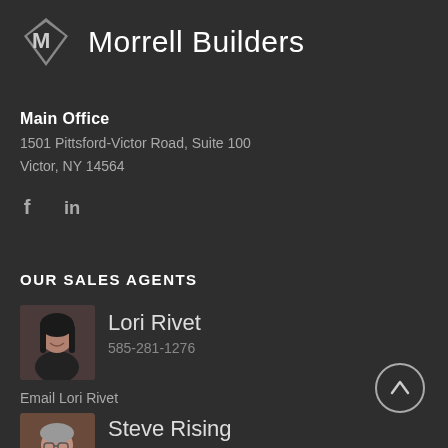[Figure (logo): Morrell Builders diamond M logo with company name]
Main Office
1501 Pittsford-Victor Road, Suite 100
Victor, NY 14564
[Figure (infographic): Facebook and LinkedIn social media icons]
OUR SALES AGENTS
[Figure (photo): Photo of Lori Rivet, female sales agent with dark hair]
Lori Rivet
585-281-1276
Email Lori Rivet
[Figure (photo): Photo of Steve Rising, male sales agent with glasses]
Steve Rising
585-746-5793